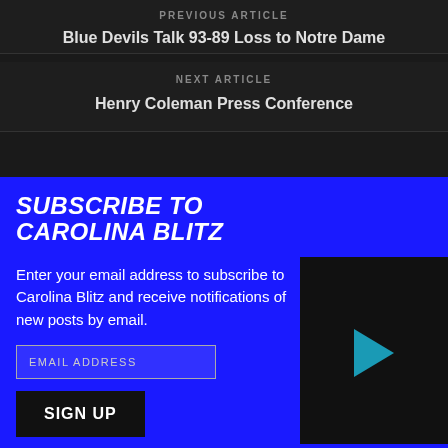PREVIOUS ARTICLE
Blue Devils Talk 93-89 Loss to Notre Dame
NEXT ARTICLE
Henry Coleman Press Conference
SUBSCRIBE TO CAROLINA BLITZ
Enter your email address to subscribe to Carolina Blitz and receive notifications of new posts by email.
EMAIL ADDRESS
SIGN UP